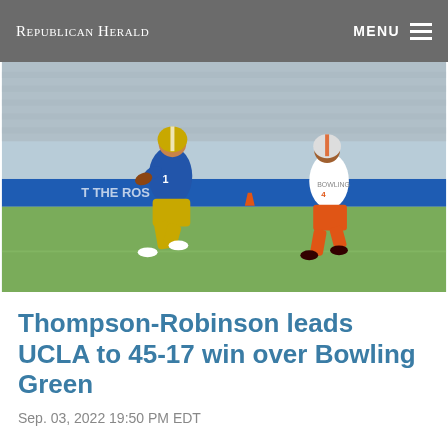Republican Herald
[Figure (photo): Football player in UCLA blue and gold uniform running with the ball, being chased by a Bowling Green player in white and orange uniform, on a football field with blue padding in the background and empty stadium seats.]
Thompson-Robinson leads UCLA to 45-17 win over Bowling Green
Sep. 03, 2022 19:50 PM EDT